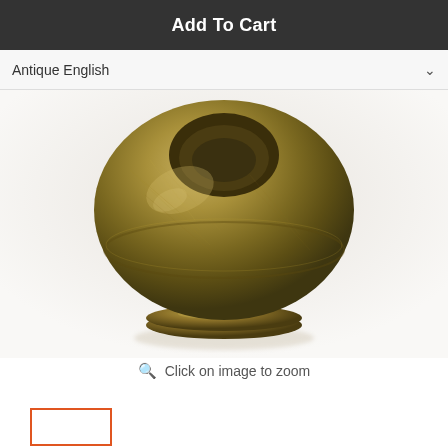Add To Cart
Antique English
[Figure (photo): Close-up product photo of an antique English brass cabinet knob with a rounded mushroom shape and pedestal base, shown against a light background. The finish has a brushed, aged gold-brass appearance.]
Click on image to zoom